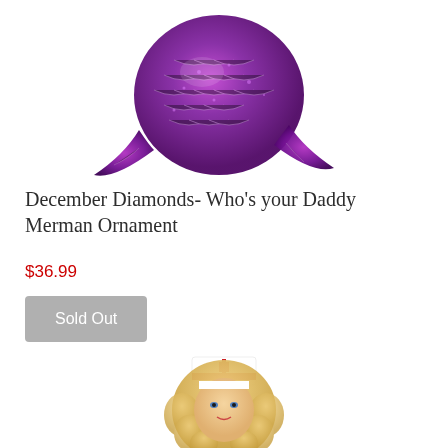[Figure (photo): Purple glittery mermaid tail ornament on white background, cropped showing the tail portion]
December Diamonds- Who's your Daddy Merman Ornament
$36.99
Sold Out
[Figure (photo): Barbie-like doll wearing a white nurse hat with red cross, blonde curly hair, partially cropped at bottom of page]